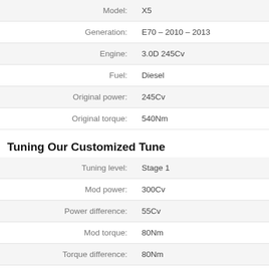| Label | Value |
| --- | --- |
| Model: | X5 |
| Generation: | E70 – 2010 – 2013 |
| Engine: | 3.0D 245Cv |
| Fuel: | Diesel |
| Original power: | 245Cv |
| Original torque: | 540Nm |
Tuning Our Customized Tune
| Label | Value |
| --- | --- |
| Tuning level: | Stage 1 |
| Mod power: | 300Cv |
| Power difference: | 55Cv |
| Mod torque: | 80Nm |
| Torque difference: | 80Nm |